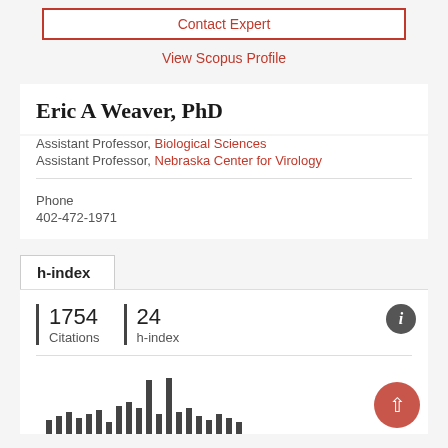Contact Expert
View Scopus Profile
Eric A Weaver, PhD
Assistant Professor, Biological Sciences
Assistant Professor, Nebraska Center for Virology
Phone
402-472-1971
h-index
1754 Citations
24 h-index
[Figure (bar-chart): Bar chart showing citation history over years, bars in dark gray/charcoal color, partially visible at bottom of page]